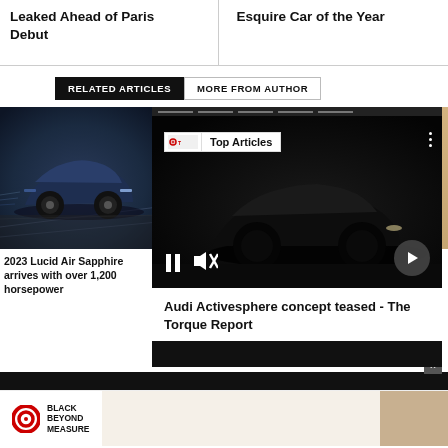Leaked Ahead of Paris Debut
Esquire Car of the Year
RELATED ARTICLES
MORE FROM AUTHOR
[Figure (photo): 2023 Lucid Air Sapphire car on track, dark blue, motion blur]
2023 Lucid Air Sapphire arrives with over 1,200 horsepower
[Figure (screenshot): Video overlay showing dark sports car silhouette with Top Articles badge, Audi Activesphere concept teased - The Torque Report caption, play controls]
Audi Activesphere concept teased - The Torque Report
[Figure (photo): Advertisement banner: Target Black Beyond Measure]
Advertisement